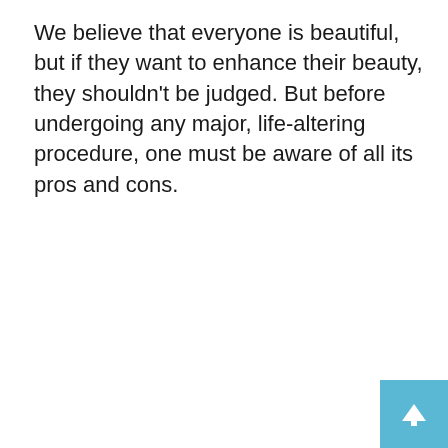We believe that everyone is beautiful, but if they want to enhance their beauty, they shouldn't be judged. But before undergoing any major, life-altering procedure, one must be aware of all its pros and cons.